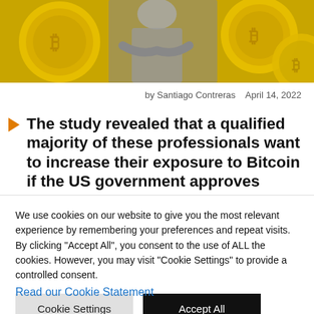[Figure (photo): Hero image showing a person in grayscale surrounded by golden Bitcoin coins on yellow background]
by Santiago Contreras   April 14, 2022
The study revealed that a qualified majority of these professionals want to increase their exposure to Bitcoin if the US government approves cryptocurrency derivatives
We use cookies on our website to give you the most relevant experience by remembering your preferences and repeat visits. By clicking "Accept All", you consent to the use of ALL the cookies. However, you may visit "Cookie Settings" to provide a controlled consent.
Cookie Settings | Accept All
Read our Cookie Statement